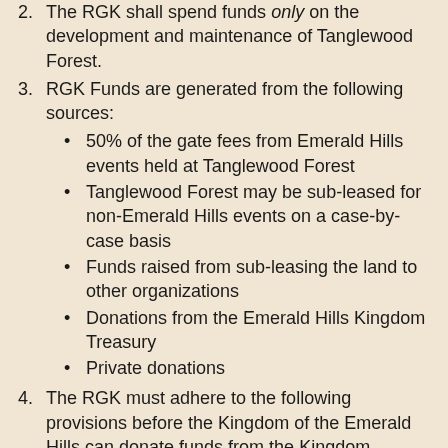2. The RGK shall spend funds only on the development and maintenance of Tanglewood Forest.
3. RGK Funds are generated from the following sources:
50% of the gate fees from Emerald Hills events held at Tanglewood Forest
Tanglewood Forest may be sub-leased for non-Emerald Hills events on a case-by-case basis
Funds raised from sub-leasing the land to other organizations
Donations from the Emerald Hills Kingdom Treasury
Private donations
4. The RGK must adhere to the following provisions before the Kingdom of the Emerald Hills can donate funds from the Kingdom Treasury to the RGK.
An RGK Funds Requisition Form must be filled out and submitted to the Prime Minister for presentation at an Althing
The RGK must provide an itemized Reconciliation, including receipts, of